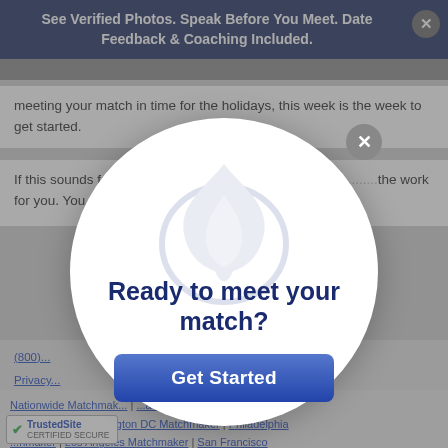See Verified Photos. Speak Before You Meet. Date Feedback & Coaching Included.
meeting your match in time for the holidays, this week is the week to get started.
If this sounds fa... ut off your love life any longe... the work for you. You ju...
[Figure (screenshot): Modal popup overlay on a matchmaking website with a circular white dialog containing a flame logo, the text 'Ready to meet your match?' in bold dark blue, and a 'Get Started' button in blue. Background shows dimmed website content.]
Nationwide Matchmaker | ... atchmaker | New York Matchmaker | Washington DC Matchmaker | Philadelphia ... hmaker | Los Angeles Matchmaker | San Francisco ... er | Chicago Matchmaker | Boston Matchmaker | Dallas